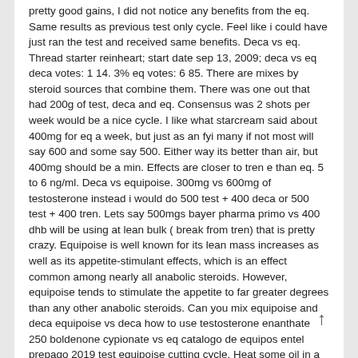pretty good gains, I did not notice any benefits from the eq. Same results as previous test only cycle. Feel like i could have just ran the test and received same benefits. Deca vs eq. Thread starter reinheart; start date sep 13, 2009; deca vs eq deca votes: 1 14. 3% eq votes: 6 85. There are mixes by steroid sources that combine them. There was one out that had 200g of test, deca and eq. Consensus was 2 shots per week would be a nice cycle. I like what starcream said about 400mg for eq a week, but just as an fyi many if not most will say 600 and some say 500. Either way its better than air, but 400mg should be a min. Effects are closer to tren e than eq. 5 to 6 ng/ml. Deca vs equipoise. 300mg vs 600mg of testosterone instead i would do 500 test + 400 deca or 500 test + 400 tren. Lets say 500mgs bayer pharma primo vs 400 dhb will be using at lean bulk ( break from tren) that is pretty crazy. Equipoise is well known for its lean mass increases as well as its appetite-stimulant effects, which is an effect common among nearly all anabolic steroids. However, equipoise tends to stimulate the appetite to far greater degrees than any other anabolic steroids. Can you mix equipoise and deca equipoise vs deca how to use testosterone enanthate 250 boldenone cypionate vs eq catalogo de equipos entel prepago 2019 test equipoise cutting cycle. Heat some oil in a frying pan and ladle in pancake mixture flip when bubbles appear in the middle and the edges turn slightly dry. Page 1 of 3 1 2 3 last. Jump to page: results 1 to 15 of 36 thread: eq vs. Show printable version: 03-31-2020 07:23